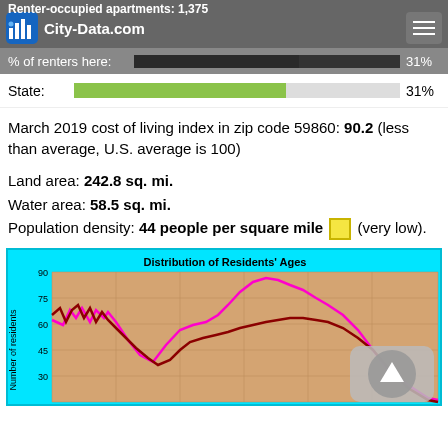Renter-occupied apartments: 1,375
% of renters here: 31%
State: 31%
March 2019 cost of living index in zip code 59860: 90.2 (less than average, U.S. average is 100)
Land area: 242.8 sq. mi.
Water area: 58.5 sq. mi.
Population density: 44 people per square mile (very low).
[Figure (continuous-plot): Distribution of Residents' Ages line chart showing two curves (magenta and dark red) plotting Number of residents (y-axis, 30-90) against age. Both curves show peaks around age 10-20 then dip, with magenta rising again to a high peak around age 55-60 and dark red rising more modestly.]